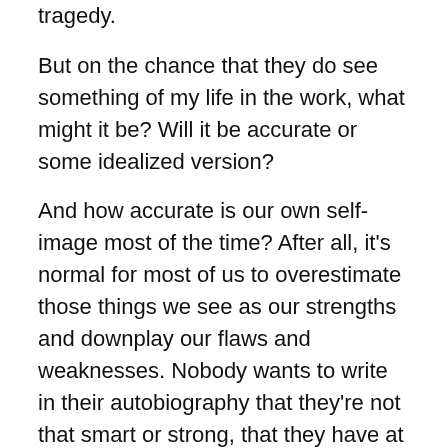tragedy.
But on the chance that they do see something of my life in the work, what might it be? Will it be accurate or some idealized version?
And how accurate is our own self-image most of the time? After all, it's normal for most of us to overestimate those things we see as our strengths and downplay our flaws and weaknesses. Nobody wants to write in their autobiography that they're not that smart or strong, that they have at least as many, if not more, glaring flaws as the average person. That they have lied and stole and hurt people along the way.
That being said, maybe an autobiography in one's art rather in writing might be more honest. It is always in the moment in which it was formed and not more recollection